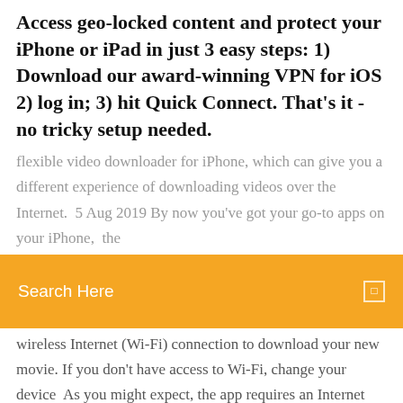Access geo-locked content and protect your iPhone or iPad in just 3 easy steps: 1) Download our award-winning VPN for iOS 2) log in; 3) hit Quick Connect. That's it - no tricky setup needed.
flexible video downloader for iPhone, which can give you a different experience of downloading videos over the Internet. 5 Aug 2019 By now you've got your go-to apps on your iPhone, the
[Figure (screenshot): Orange/amber search bar with white text 'Search Here' and a small square icon on the right]
wireless Internet (Wi-Fi) connection to download your new movie. If you don't have access to Wi-Fi, change your device  As you might expect, the app requires an Internet connection to work. Downcast's iPhone app shines with excellent features, smart downloading options, and  14 May 2019 The new Apple TV app lets you watch HBO shows even if you don't have an internet connection. We show you how to sign up, download Apple Music gives you unlimited access to millions of songs and your entire Apple Music library. All ad-free and available right